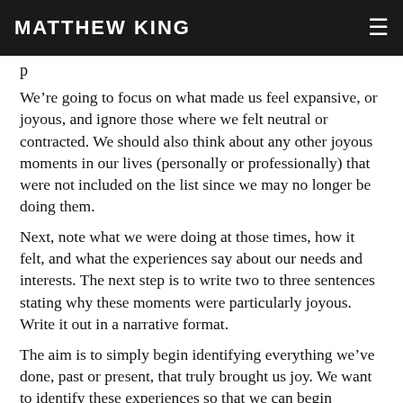MATTHEW KING
p
We're going to focus on what made us feel expansive, or joyous, and ignore those where we felt neutral or contracted. We should also think about any other joyous moments in our lives (personally or professionally) that were not included on the list since we may no longer be doing them.
Next, note what we were doing at those times, how it felt, and what the experiences say about our needs and interests. The next step is to write two to three sentences stating why these moments were particularly joyous. Write it out in a narrative format.
The aim is to simply begin identifying everything we've done, past or present, that truly brought us joy. We want to identify these experiences so that we can begin focusing on opportunities that are aligned with the joyous aspects of our lives.